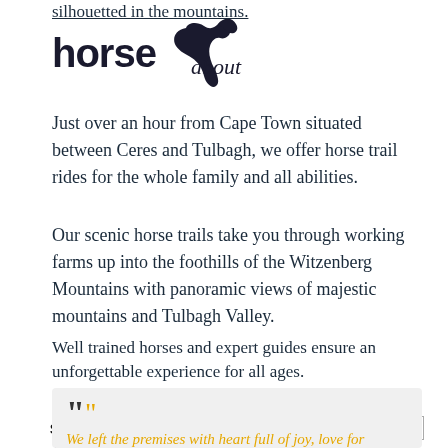silhouetted in the mountains.
[Figure (logo): Horse About logo with black horse silhouette, bold text 'horse' and italic 'about']
Just over an hour from Cape Town situated between Ceres and Tulbagh, we offer horse trail rides for the whole family and all abilities.
Our scenic horse trails take you through working farms up into the foothills of the Witzenberg Mountains with panoramic views of majestic mountains and Tulbagh Valley.
Well trained horses and expert guides ensure an unforgettable experience for all ages.
Ask about our tailor made wine and olive tasting trail rides.
We look forward to introducing you to our magnificent horses and breathtaking valley.
Subscribe to our mailing list  [email address]  Subscribe
"We left the premises with heart full of joy, love for